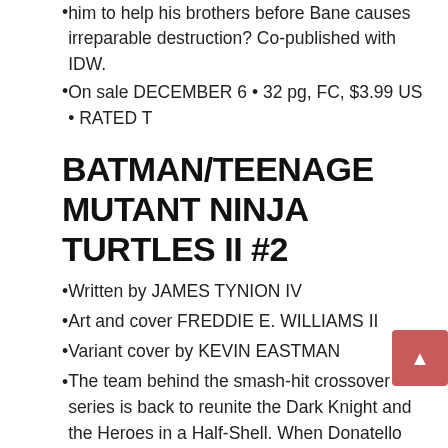him to help his brothers before Bane causes irreparable destruction? Co-published with IDW.
On sale DECEMBER 6 • 32 pg, FC, $3.99 US • RATED T
BATMAN/TEENAGE MUTANT NINJA TURTLES II #2
Written by JAMES TYNION IV
Art and cover FREDDIE E. WILLIAMS II
Variant cover by KEVIN EASTMAN
The team behind the smash-hit crossover series is back to reunite the Dark Knight and the Heroes in a Half-Shell. When Donatello goes looking for a new mentor to help him improve his fighting skills, he opens a doorway to another reality, hoping to summon the Turtles' one-time ally, Batman. But instead, he gets sent to Gotham City and someone else comes through the open portal—Bane!
Can both the other groups come up in New York and…